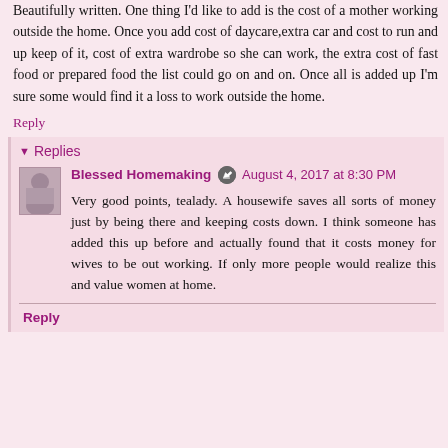Beautifully written. One thing I'd like to add is the cost of a mother working outside the home. Once you add cost of daycare,extra car and cost to run and up keep of it, cost of extra wardrobe so she can work, the extra cost of fast food or prepared food the list could go on and on. Once all is added up I'm sure some would find it a loss to work outside the home.
Reply
Replies
Blessed Homemaking  August 4, 2017 at 8:30 PM
Very good points, tealady. A housewife saves all sorts of money just by being there and keeping costs down. I think someone has added this up before and actually found that it costs money for wives to be out working. If only more people would realize this and value women at home.
Reply